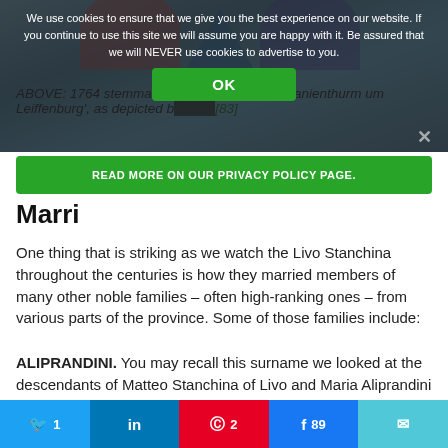[Figure (screenshot): Top banner image (partially obscured by cookie consent overlay) showing a heraldic/genealogical illustration. A dark overlay covers the banner with cookie consent text in white.]
We use cookies to ensure that we give you the best experience on our website. If you continue to use this site we will assume you are happy with it. Be assured that we will NEVER use cookies to advertise to you.
ABOVE: 1764 stemma of the Stanchina 'von Panienthurm um Leiffenburg', as depicted b... [83]
Marri...
One thing that is striking as we watch the Livo Stanchina throughout the centuries is how they married members of many other noble families – often high-ranking ones – from various parts of the province. Some of those families include:
ALIPRANDINI. You may recall this surname we looked at the descendants of Matteo Stanchina of Livo and Maria Aliprandini (daughter of Aliprando) of Preghena, who married on 19 January 1579 [84] The Aliprandini are a very old and
Twitter 1 | LinkedIn | Pinterest 2 | Facebook 89 | Email